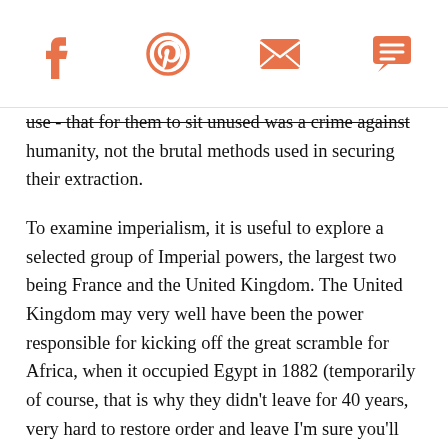[Social sharing icons: Facebook, Pinterest, Email, Chat]
use - that for them to sit unused was a crime against humanity, not the brutal methods used in securing their extraction.
To examine imperialism, it is useful to explore a selected group of Imperial powers, the largest two being France and the United Kingdom. The United Kingdom may very well have been the power responsible for kicking off the great scramble for Africa, when it occupied Egypt in 1882 (temporarily of course, that is why they didn't leave for 40 years, very hard to restore order and leave I'm sure you'll understand, we'll be gone next year of course!). The British of course, already had a very significant empire at the start of the age of New Imperialism, centered upon their colony of India. Protecting the Empire they had already gained, was thus critical to the British, and so part of their imperial expansion was based on the safeguarding of their lines of communication to India. Controlling Egypt with the Suez Canal, adjacent territories that could potentially threaten it